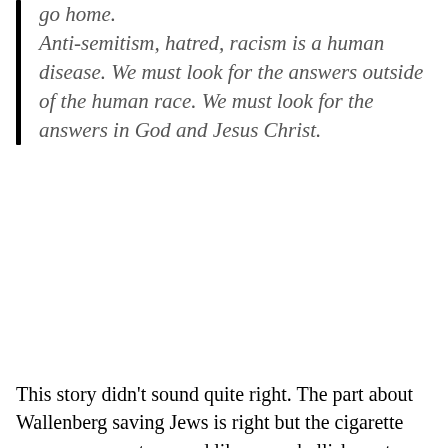go home. Anti-semitism, hatred, racism is a human disease. We must look for the answers outside of the human race. We must look for the answers in God and Jesus Christ.
This story didn't sound quite right. The part about Wallenberg saving Jews is right but the cigarette case component seemed like an embellishment. How would anyone know that about the cigarette case? Wallenberg disappeared after the liberation of Budapest and was never seen as a free man in public. He left behind no written accounts. Curious about it, I contacted the Raoul Wallenberg Committee of the United States